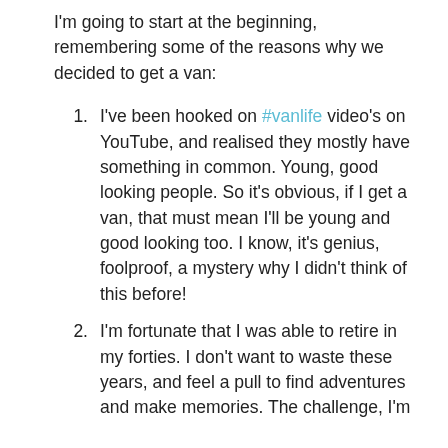I'm going to start at the beginning, remembering some of the reasons why we decided to get a van:
I've been hooked on #vanlife video's on YouTube, and realised they mostly have something in common. Young, good looking people. So it's obvious, if I get a van, that must mean I'll be young and good looking too. I know, it's genius, foolproof, a mystery why I didn't think of this before!
I'm fortunate that I was able to retire in my forties. I don't want to waste these years, and feel a pull to find adventures and make memories. The challenge, I'm